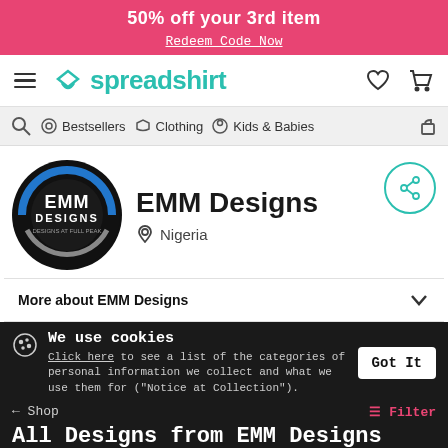50% off your 3rd item
Redeem Code Now
[Figure (logo): Spreadshirt logo with hamburger menu, heart and cart icons]
Bestsellers  Clothing  Kids & Babies
[Figure (logo): EMM Designs circular logo in black with blue and grey accents]
EMM Designs
Nigeria
More about EMM Designs
We use cookies
Click here to see a list of the categories of personal information we collect and what we use them for ("Notice at Collection").
All Designs from EMM Designs
Privacy Policy
Do Not Sell My Personal Information
By using this website, I agree to the Terms and Conditions
Men  Women  Kids  Babies  Accessories